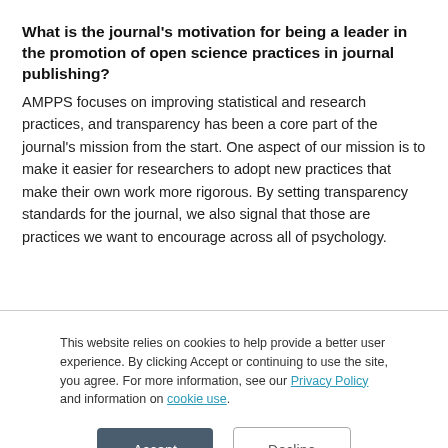What is the journal's motivation for being a leader in the promotion of open science practices in journal publishing?
AMPPS focuses on improving statistical and research practices, and transparency has been a core part of the journal's mission from the start. One aspect of our mission is to make it easier for researchers to adopt new practices that make their own work more rigorous. By setting transparency standards for the journal, we also signal that those are practices we want to encourage across all of psychology.
This website relies on cookies to help provide a better user experience. By clicking Accept or continuing to use the site, you agree. For more information, see our Privacy Policy and information on cookie use.